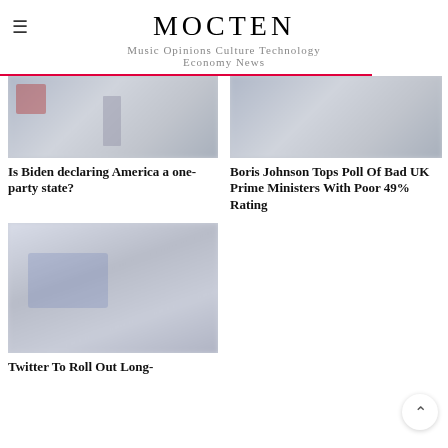MOCTEN
Music Opinions Culture Technology Economy News
[Figure (photo): Blurred photo, left article image for Biden story]
Is Biden declaring America a one-party state?
[Figure (photo): Blurred photo, right article image for Boris Johnson story]
Boris Johnson Tops Poll Of Bad UK Prime Ministers With Poor 49% Rating
[Figure (photo): Blurred photo, bottom left article image for Twitter story]
Twitter To Roll Out Long-